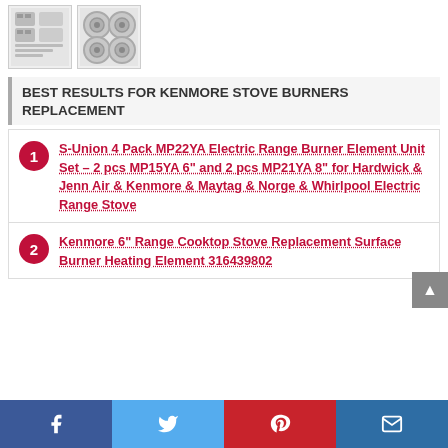[Figure (photo): Two small product thumbnail images: left shows a parts/components kit with small pieces arranged on white background; right shows 4 circular burner elements arranged in a 2x2 grid.]
BEST RESULTS FOR KENMORE STOVE BURNERS REPLACEMENT
1. S-Union 4 Pack MP22YA Electric Range Burner Element Unit Set – 2 pcs MP15YA 6" and 2 pcs MP21YA 8" for Hardwick & Jenn Air & Kenmore & Maytag & Norge & Whirlpool Electric Range Stove
2. Kenmore 6" Range Cooktop Stove Replacement Surface Burner Heating Element 316439802
Facebook | Twitter | Pinterest | Email